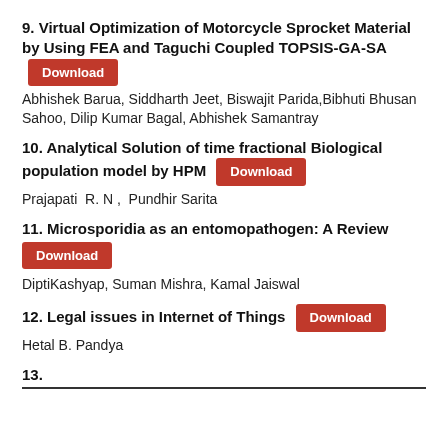9. Virtual Optimization of Motorcycle Sprocket Material by Using FEA and Taguchi Coupled TOPSIS-GA-SA  [Download]
Abhishek Barua, Siddharth Jeet, Biswajit Parida,Bibhuti Bhusan Sahoo, Dilip Kumar Bagal, Abhishek Samantray
10. Analytical Solution of time fractional Biological population model by HPM  [Download]
Prajapati  R. N ,  Pundhir Sarita
11. Microsporidia as an entomopathogen: A Review  [Download]
DiptiKashyap, Suman Mishra, Kamal Jaiswal
12. Legal issues in Internet of Things  [Download]
Hetal B. Pandya